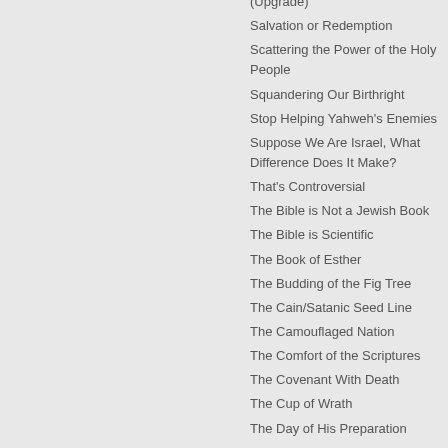(Upgrade)
Salvation or Redemption
Scattering the Power of the Holy People
Squandering Our Birthright
Stop Helping Yahweh's Enemies
Suppose We Are Israel, What Difference Does It Make?
That's Controversial
The Bible is Not a Jewish Book
The Bible is Scientific
The Book of Esther
The Budding of the Fig Tree
The Cain/Satanic Seed Line
The Camouflaged Nation
The Comfort of the Scriptures
The Covenant With Death
The Cup of Wrath
The Day of His Preparation
The Day of Vengeance